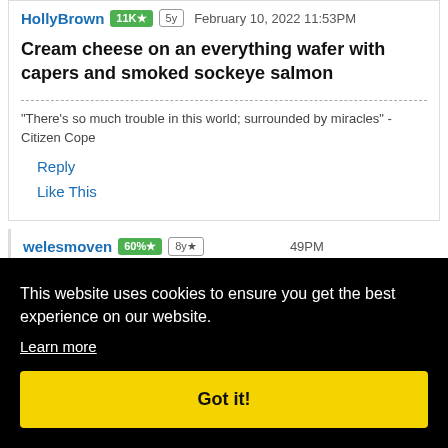HollyBrown [11K★] [5y] February 10, 2022 11:53PM
Cream cheese on an everything wafer with capers and smoked sockeye salmon
"There's so much trouble in this world; surrounded by miracles" - Citizen Cope
Reply
Like This
welesmoven [60%★] [8y★] ...49PM
...ldi),
Like This
This website uses cookies to ensure you get the best experience on our website.
Learn more
Got it!